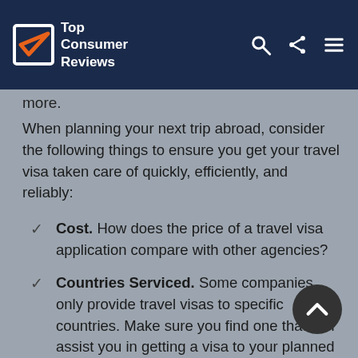Top Consumer Reviews
more.
When planning your next trip abroad, consider the following things to ensure you get your travel visa taken care of quickly, efficiently, and reliably:
Cost. How does the price of a travel visa application compare with other agencies?
Countries Serviced. Some companies only provide travel visas to specific countries. Make sure you find one that can assist you in getting a visa to your planned place of travel. It is also a good idea to make sure they have done travel visas for that country before, just to ensure they know what they're doing.